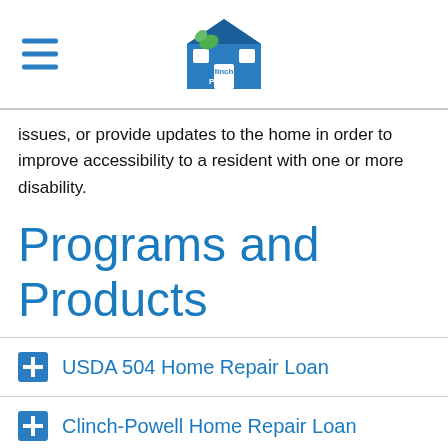Clinch Powell
issues, or provide updates to the home in order to improve accessibility to a resident with one or more disability.
Programs and Products
USDA 504 Home Repair Loan
Clinch-Powell Home Repair Loan